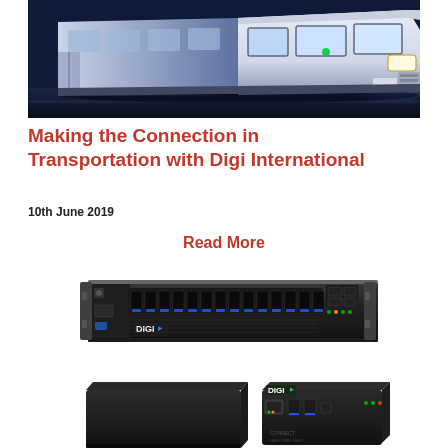[Figure (photo): Photo of a white bus / coach vehicle at night or dusk, with blue-tinted lighting, moving against a dark background.]
Making the Connection in Transportation with Digi International
10th June 2019
Read More
[Figure (photo): Photo of Digi International networking hardware products including a 1U rack-mounted unit with multiple USB ports and blue LED indicators, a black flat set-top-box style unit, and a small compact Digi-branded router/hub device with Ethernet and USB ports.]